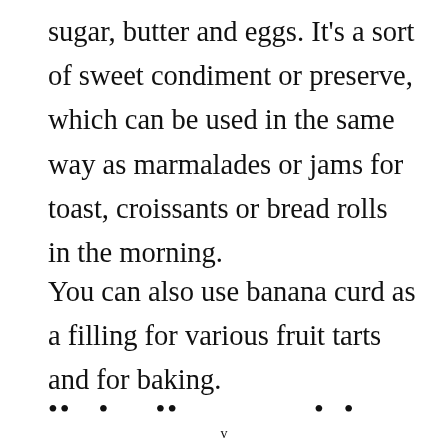sugar, butter and eggs. It's a sort of sweet condiment or preserve, which can be used in the same way as marmalades or jams for toast, croissants or bread rolls in the morning.
You can also use banana curd as a filling for various fruit tarts and for baking.
.. .   ..              . .
v